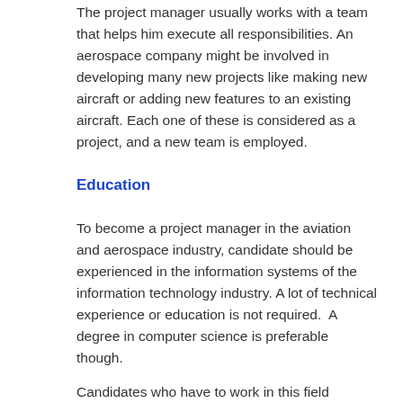The project manager usually works with a team that helps him execute all responsibilities. An aerospace company might be involved in developing many new projects like making new aircraft or adding new features to an existing aircraft. Each one of these is considered as a project, and a new team is employed.
Education
To become a project manager in the aviation and aerospace industry, candidate should be experienced in the information systems of the information technology industry. A lot of technical experience or education is not required.  A degree in computer science is preferable though.
Candidates who have to work in this field